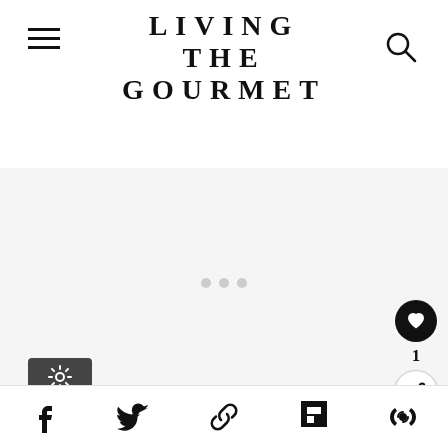LIVING THE GOURMET
[Figure (photo): Main content image area placeholder with navigation dots, light gray background]
[Figure (other): Sidebar action buttons: heart/like button (black circle), count number 1, share button (white circle with share icon)]
1
[Figure (other): What's Next card showing thumbnail of Three Bean Rice Salad with arrow and label WHAT'S NEXT]
Three Bean Rice Salad
Settings, Facebook, Twitter, Link, Flipboard, Scribd social share icons footer bar